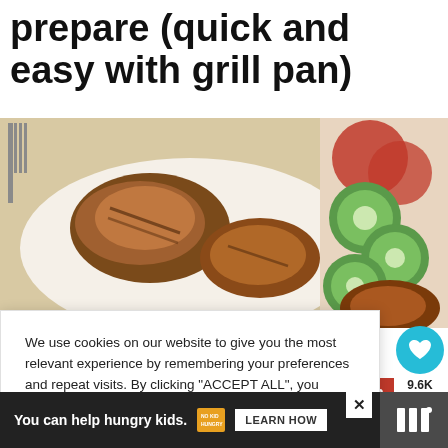prepare (quick and easy with grill pan)
[Figure (photo): Food photo showing grilled chicken thighs on a plate with sliced cucumbers and tomatoes on the right side]
We use cookies on our website to give you the most relevant experience by remembering your preferences and repeat visits. By clicking “ACCEPT ALL”, you consent to the use of ALL the cookies. However, you may visit “Cookie Settings” to provide a controlled consent.
Cookie Settings
REJECT ALL
ACCEPT ALL
chicken
9.6K
hicken thigh
You can help hungry kids.
NOKID HUNGRY
LEARN HOW